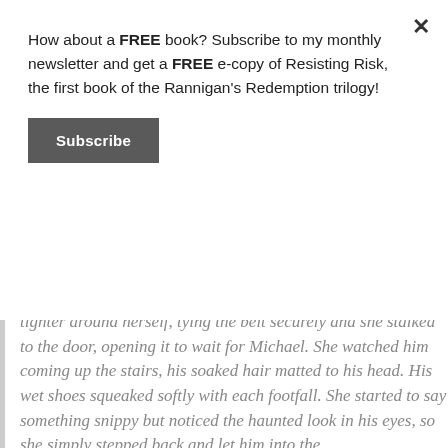How about a FREE book? Subscribe to my monthly newsletter and get a FREE e-copy of Resisting Risk, the first book of the Rannigan's Redemption trilogy!
Subscribe
tighter around herself, tying the belt securely and she stalked to the door, opening it to wait for Michael. She watched him coming up the stairs, his soaked hair matted to his head. His wet shoes squeaked softly with each footfall. She started to say something snippy but noticed the haunted look in his eyes, so she simply stepped back and let him into the